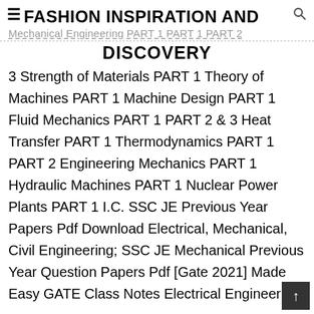≡FASHION INSPIRATION AND DISCOVERY
Mechanical Engineering PART 1 PART 2
3 Strength of Materials PART 1 Theory of Machines PART 1 Machine Design PART 1 Fluid Mechanics PART 1 PART 2 & 3 Heat Transfer PART 1 Thermodynamics PART 1 PART 2 Engineering Mechanics PART 1 Hydraulic Machines PART 1 Nuclear Power Plants PART 1 I.C. SSC JE Previous Year Papers Pdf Download Electrical, Mechanical, Civil Engineering; SSC JE Mechanical Previous Year Question Papers Pdf [Gate 2021] Made Easy GATE Class Notes Electrical Engineering;